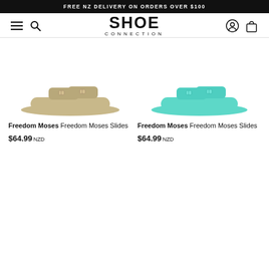FREE NZ DELIVERY ON ORDERS OVER $100
[Figure (logo): Shoe Connection logo with SHOE in large bold letters and CONNECTION below in spaced caps]
[Figure (photo): Beige/gold Freedom Moses two-strap slide sandal on white background]
Freedom Moses Freedom Moses Slides
$64.99 NZD
[Figure (photo): Mint/turquoise Freedom Moses two-strap slide sandal on white background]
Freedom Moses Freedom Moses Slides
$64.99 NZD